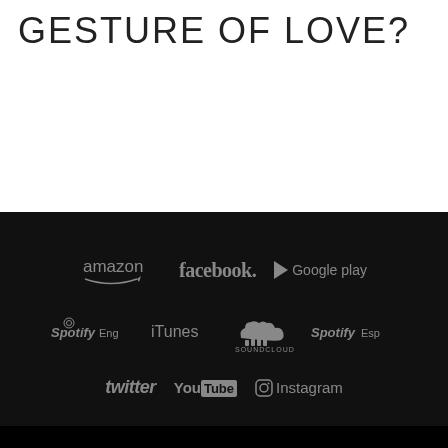GESTURE OF LOVE?
[Figure (logo): Social media and music platform logos on black background: Amazon, Facebook, Google Play, Spotify Eng, iTunes, SoundCloud, Spotify Esp, Twitter, YouTube, Instagram]